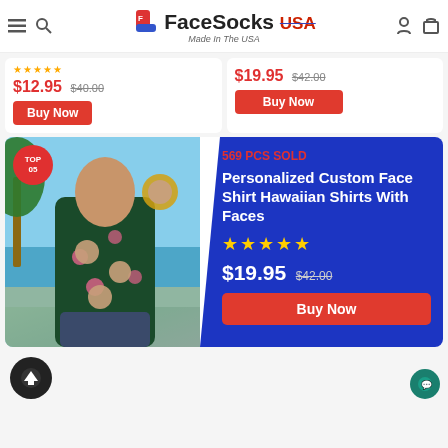FaceSocks USA — Made In The USA
$12.95  $40.00
Buy Now
$19.95  $42.00
Buy Now
[Figure (photo): Man wearing personalized custom face Hawaiian shirt with flamingos and tropical leaves]
569 PCS SOLD
Personalized Custom Face Shirt Hawaiian Shirts With Faces
★★★★★
$19.95  $42.00
Buy Now